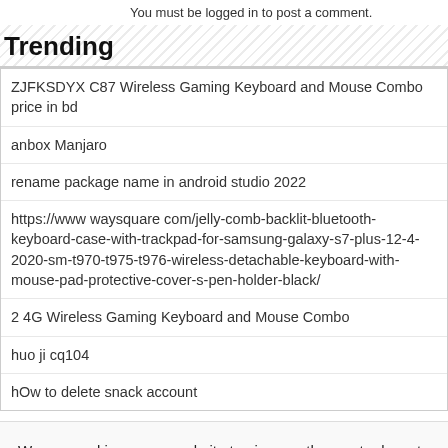You must be logged in to post a comment.
Trending
ZJFKSDYX C87 Wireless Gaming Keyboard and Mouse Combo price in bd
anbox Manjaro
rename package name in android studio 2022
https://www waysquare com/jelly-comb-backlit-bluetooth-keyboard-case-with-trackpad-for-samsung-galaxy-s7-plus-12-4-2020-sm-t970-t975-t976-wireless-detachable-keyboard-with-mouse-pad-protective-cover-s-pen-holder-black/
2 4G Wireless Gaming Keyboard and Mouse Combo
huo ji cq104
hOw to delete snack account
We use cookies on our website to give you the most relevant experience by remembering your preferences and repeat visits. By clicking “Accept”, you consent to the use of ALL the cookies.
Cookie settings  ACCEPT